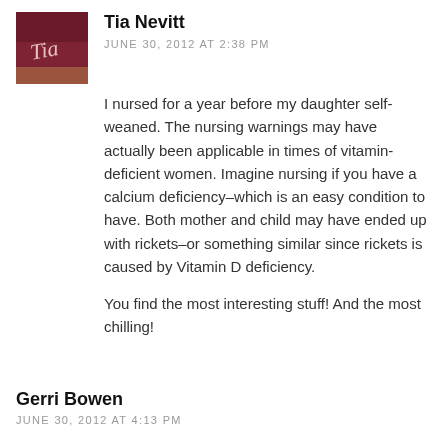[Figure (photo): Small avatar photo with cursive 'Tia' text on a dark red/wine colored background]
Tia Nevitt
JUNE 30, 2012 AT 2:38 PM
I nursed for a year before my daughter self-weaned. The nursing warnings may have actually been applicable in times of vitamin-deficient women. Imagine nursing if you have a calcium deficiency–which is an easy condition to have. Both mother and child may have ended up with rickets–or something similar since rickets is caused by Vitamin D deficiency.
You find the most interesting stuff! And the most chilling!
Gerri Bowen
JUNE 30, 2012 AT 4:13 PM